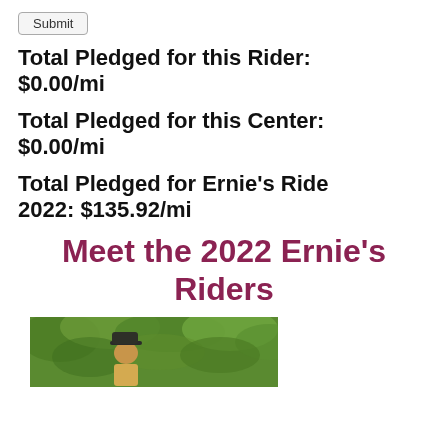Submit
Total Pledged for this Rider: $0.00/mi
Total Pledged for this Center: $0.00/mi
Total Pledged for Ernie's Ride 2022: $135.92/mi
Meet the 2022 Ernie's Riders
[Figure (photo): Outdoor photo of a person wearing a cap, surrounded by green foliage]